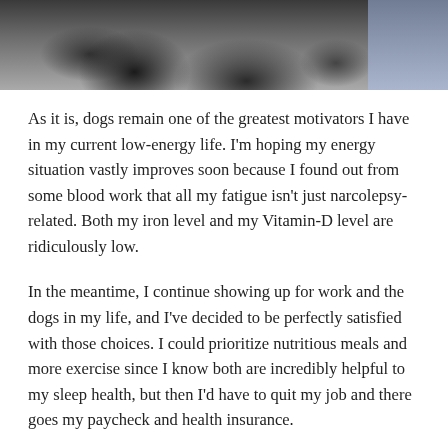[Figure (photo): Partial photo showing what appears to be a dark curly-haired dog and a person in a light blue shirt, cropped at the top of the page.]
As it is, dogs remain one of the greatest motivators I have in my current low-energy life. I'm hoping my energy situation vastly improves soon because I found out from some blood work that all my fatigue isn't just narcolepsy-related. Both my iron level and my Vitamin-D level are ridiculously low.
In the meantime, I continue showing up for work and the dogs in my life, and I've decided to be perfectly satisfied with those choices. I could prioritize nutritious meals and more exercise since I know both are incredibly helpful to my sleep health, but then I'd have to quit my job and there goes my paycheck and health insurance.
The irony is not lost on me that the best choices for health right now I cannot prioritize because they would jeopardize losing my health insurance. The healthcare/health insurance